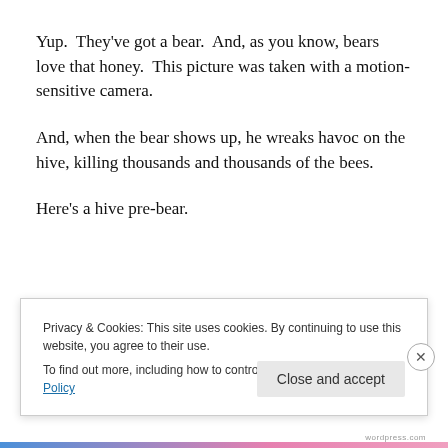Yup.  They've got a bear.  And, as you know, bears love that honey.  This picture was taken with a motion-sensitive camera.
And, when the bear shows up, he wreaks havoc on the hive, killing thousands and thousands of the bees.
Here's a hive pre-bear.
Privacy & Cookies: This site uses cookies. By continuing to use this website, you agree to their use.
To find out more, including how to control cookies, see here: Cookie Policy